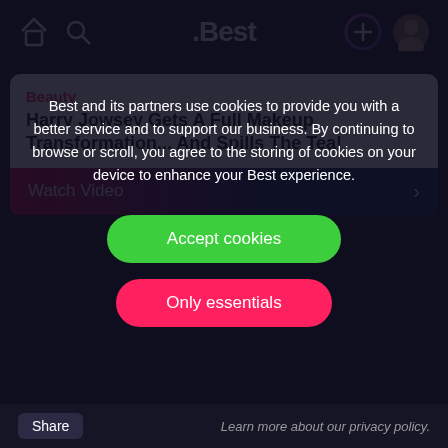.Best
Beauty
Harry Jowsey Gets A Full Makeup Transformation... And Spills The Tea!
Watch Video
Best and its partners use cookies to provide you with a better service and to support our business. By continuing to browse or scroll, you agree to the storing of cookies on your device to enhance your Best experience.
Accept cookies
Only essentials
Learn more about our privacy policy.